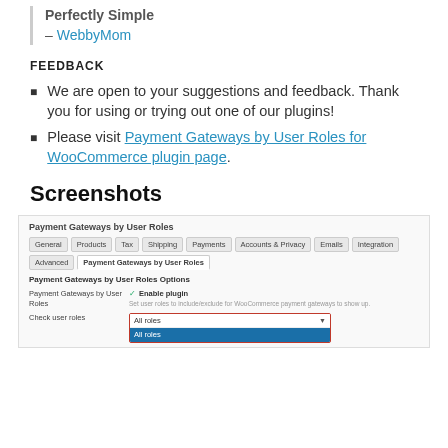Perfectly Simple
– WebbyMom
FEEDBACK
We are open to your suggestions and feedback. Thank you for using or trying out one of our plugins!
Please visit Payment Gateways by User Roles for WooCommerce plugin page.
Screenshots
[Figure (screenshot): Screenshot of WooCommerce Payment Gateways by User Roles plugin settings page showing tabs (General, Products, Tax, Shipping, Payments, Accounts & Privacy, Emails, Integration, Advanced, Payment Gateways by User Roles), options section with Enable plugin checkbox and Check user roles dropdown showing All roles selected]